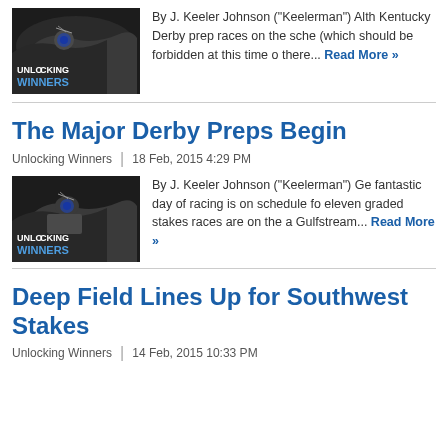[Figure (photo): Unlocking Winners thumbnail showing horse racing with blue text overlay]
By J. Keeler Johnson ("Keelerman") Alth Kentucky Derby prep races on the sche (which should be forbidden at this time o there... Read More »
The Major Derby Preps Begin
Unlocking Winners | 18 Feb, 2015 4:29 PM
[Figure (photo): Unlocking Winners thumbnail showing horse racing with blue text overlay]
By J. Keeler Johnson ("Keelerman") Ge fantastic day of racing is on schedule fo eleven graded stakes races are on the a Gulfstream... Read More »
Deep Field Lines Up for Southwest Stakes
Unlocking Winners | 14 Feb, 2015 10:33 PM